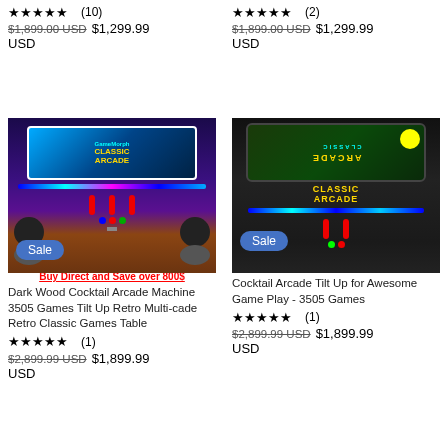★★★★★ (10)
$1,899.00 USD  $1,299.99
USD
★★★★★ (2)
$1,899.00 USD  $1,299.99
USD
[Figure (photo): Dark wood cocktail arcade machine with blue LED strip, joysticks, and bar stools. Sale badge. Red text: Buy Direct and Save over 800$]
[Figure (photo): Cocktail arcade tilt up machine in black with blue LED strip. Sale badge.]
Dark Wood Cocktail Arcade Machine 3505 Games Tilt Up Retro Multi-cade Retro Classic Games Table
Cocktail Arcade Tilt Up for Awesome Game Play - 3505 Games
★★★★★ (1)
★★★★★ (1)
$2,899.99 USD  $1,899.99
USD
$2,899.99 USD  $1,899.99
USD